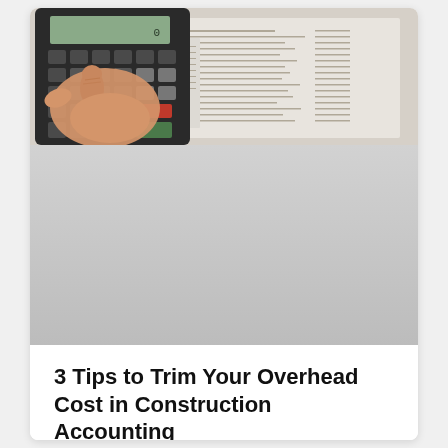[Figure (photo): A hand pressing buttons on a black calculator, with financial documents/spreadsheets visible in the background on a white surface.]
[Figure (photo): A light gray blurred/faded section below the main photo, part of the same card layout.]
3 Tips to Trim Your Overhead Cost in Construction Accounting